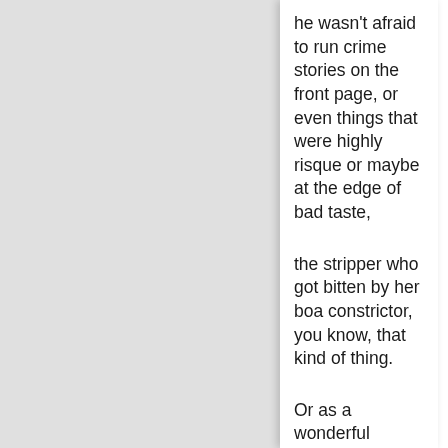he wasn't afraid to run crime stories on the front page, or even things that were highly risque or maybe at the edge of bad taste,
the stripper who got bitten by her boa constrictor, you know, that kind of thing.
Or as a wonderful description of a woman who was arrested while